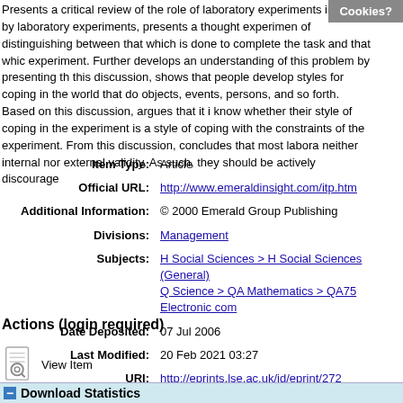Presents a critical review of the role of laboratory experiments in raised by laboratory experiments, presents a thought experiment of distinguishing between that which is done to complete the task and that which experiment. Further develops an understanding of this problem by presenting th this discussion, shows that people develop styles for coping in the world that do objects, events, persons, and so forth. Based on this discussion, argues that it i know whether their style of coping in the experiment is a style of coping with the constraints of the experiment. From this discussion, concludes that most labora neither internal nor external validity. As such, they should be actively discourage
| Item Type: | Article |
| Official URL: | http://www.emeraldinsight.com/itp.htm |
| Additional Information: | © 2000 Emerald Group Publishing |
| Divisions: | Management |
| Subjects: | H Social Sciences > H Social Sciences (General)
Q Science > QA Mathematics > QA75 Electronic com |
| Date Deposited: | 07 Jul 2006 |
| Last Modified: | 20 Feb 2021 03:27 |
| URI: | http://eprints.lse.ac.uk/id/eprint/272 |
Actions (login required)
View Item
Download Statistics